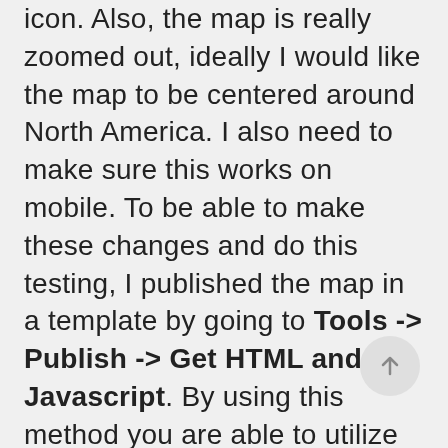icon. Also, the map is really zoomed out, ideally I would like the map to be centered around North America. I also need to make sure this works on mobile. To be able to make these changes and do this testing, I published the map in a template by going to Tools -> Publish -> Get HTML and Javascript. By using this method you are able to utilize the Google Maps API. Now, I have a template that holds the code along with the code that takes place in the info window in the google fusion table map. Any update I do on the fusion table info window code, will automatically...